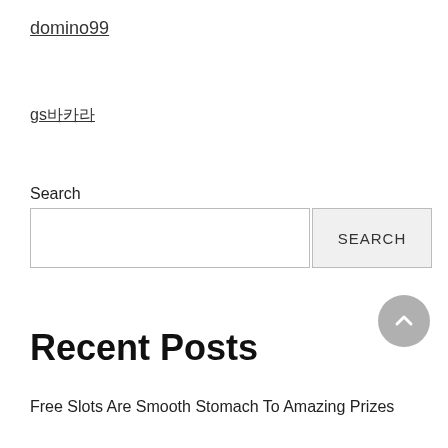domino99
gs바카라
Search
Recent Posts
Free Slots Are Smooth Stomach To Amazing Prizes